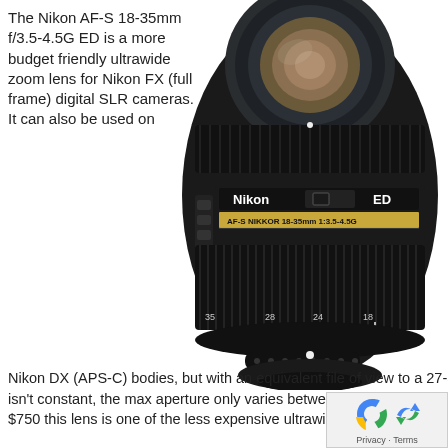The Nikon AF-S 18-35mm f/3.5-4.5G ED is a more budget friendly ultrawide zoom lens for Nikon FX (full frame) digital SLR cameras. It can also be used on Nikon DX (APS-C) bodies, but with an equivalent file of view to a 27-50mm lens on a full frame body. Although the lens' aperture isn't constant, the max aperture only varies between f/3.5 and 4.5. This helps to cut down on the weight and price of the lens. At $750 this lens is one of the less expensive ultrawide zoom lenses currently available.
[Figure (photo): Nikon AF-S NIKKOR 18-35mm f/3.5-4.5G ED lens, front view showing the zoom ring with focal length markings 28, 24, 18, Nikon and ED branding on the barrel.]